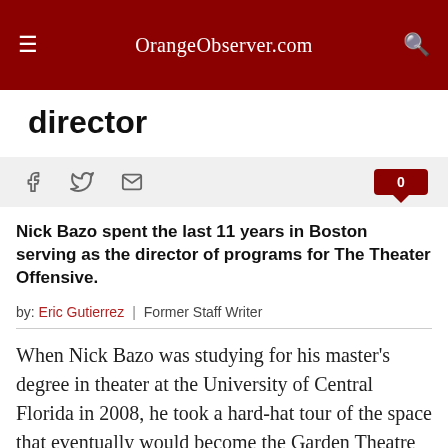OrangeObserver.com
director
[Figure (other): Social sharing bar with Facebook, Twitter, and email icons, and a comment count badge showing 0]
Nick Bazo spent the last 11 years in Boston serving as the director of programs for The Theater Offensive.
by: Eric Gutierrez | Former Staff Writer
When Nick Bazo was studying for his master's degree in theater at the University of Central Florida in 2008, he took a hard-hat tour of the space that eventually would become the Garden Theatre